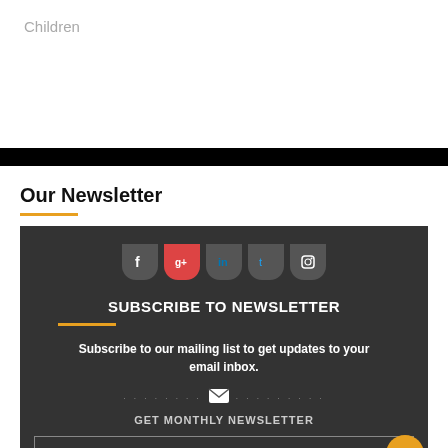Children
Our Newsletter
[Figure (infographic): Dark newsletter subscription box with social media icons (Facebook, Google+, LinkedIn, Twitter, Instagram), heading 'SUBSCRIBE TO NEWSLETTER', description text, email dots divider, 'GET MONTHLY NEWSLETTER' label, and First Name input field. A gold scroll-to-top button is in the bottom right.]